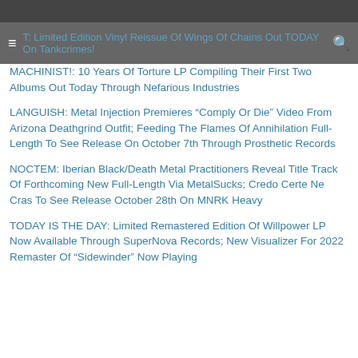≡  T: Limited Edition Vinyl Reissue Of Wings Of Chains Out TODAY On Tankcrimes!  🔍
MACHINIST!: 10 Years Of Torture LP Compiling Their First Two Albums Out Today Through Nefarious Industries
LANGUISH: Metal Injection Premieres “Comply Or Die” Video From Arizona Deathgrind Outfit; Feeding The Flames Of Annihilation Full-Length To See Release On October 7th Through Prosthetic Records
NOCTEM: Iberian Black/Death Metal Practitioners Reveal Title Track Of Forthcoming New Full-Length Via MetalSucks; Credo Certe Ne Cras To See Release October 28th On MNRK Heavy
TODAY IS THE DAY: Limited Remastered Edition Of Willpower LP Now Available Through SuperNova Records; New Visualizer For 2022 Remaster Of “Sidewinder” Now Playing